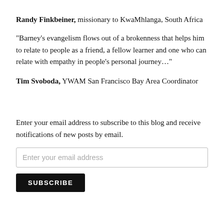Randy Finkbeiner, missionary to KwaMhlanga, South Africa
“Barney’s evangelism flows out of a brokenness that helps him to relate to people as a friend, a fellow learner and one who can relate with empathy in people’s personal journey…”
Tim Svoboda, YWAM San Francisco Bay Area Coordinator
Enter your email address to subscribe to this blog and receive notifications of new posts by email.
Enter your email address
SUBSCRIBE